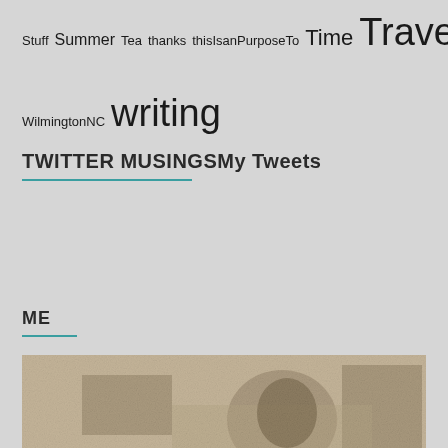Stuff Summer Tea thanks thisIsanPurposeTo Time Travel WhatIs WilmingtonNC writing
TWITTER MUSINGSMy Tweets
ME
[Figure (photo): A grainy sepia-toned black and white photograph showing a person from behind/side view outdoors]